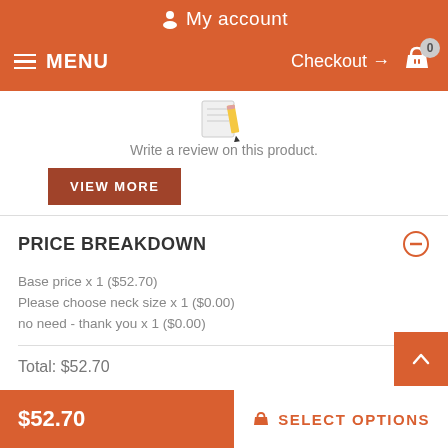My account
MENU  Checkout → 0
[Figure (illustration): Pencil and notepad icon]
Write a review on this product.
VIEW MORE
PRICE BREAKDOWN
Base price x 1 ($52.70)
Please choose neck size x 1 ($0.00)
no need - thank you x 1 ($0.00)
Total: $52.70
$52.70  SELECT OPTIONS